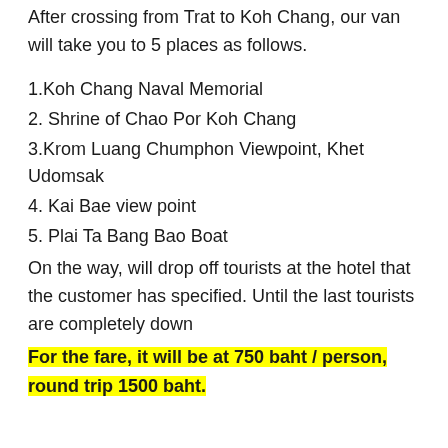After crossing from Trat to Koh Chang, our van will take you to 5 places as follows.
1.Koh Chang Naval Memorial
2. Shrine of Chao Por Koh Chang
3.Krom Luang Chumphon Viewpoint, Khet Udomsak
4. Kai Bae view point
5. Plai Ta Bang Bao Boat
On the way, will drop off tourists at the hotel that the customer has specified. Until the last tourists are completely down
For the fare, it will be at 750 baht / person, round trip 1500 baht.